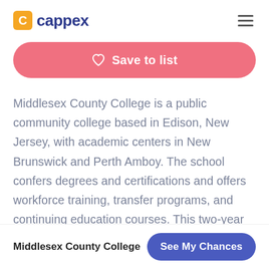cappex
Save to list
Middlesex County College is a public community college based in Edison, New Jersey, with academic centers in New Brunswick and Perth Amboy. The school confers degrees and certifications and offers workforce training, transfer programs, and continuing education courses. This two-year institution also offers evening degree programs for working students,
Middlesex County College  See My Chances